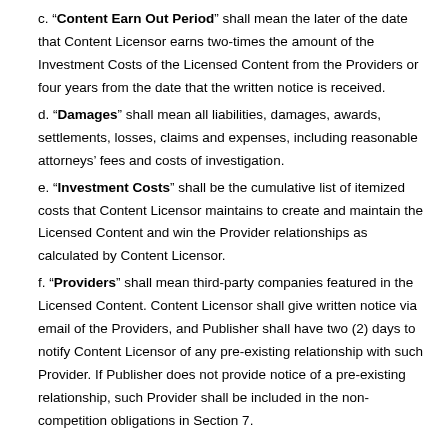c. "Content Earn Out Period" shall mean the later of the date that Content Licensor earns two-times the amount of the Investment Costs of the Licensed Content from the Providers or four years from the date that the written notice is received.
d. "Damages" shall mean all liabilities, damages, awards, settlements, losses, claims and expenses, including reasonable attorneys' fees and costs of investigation.
e. "Investment Costs" shall be the cumulative list of itemized costs that Content Licensor maintains to create and maintain the Licensed Content and win the Provider relationships as calculated by Content Licensor.
f. "Providers" shall mean third-party companies featured in the Licensed Content. Content Licensor shall give written notice via email of the Providers, and Publisher shall have two (2) days to notify Content Licensor of any pre-existing relationship with such Provider. If Publisher does not provide notice of a pre-existing relationship, such Provider shall be included in the non-competition obligations in Section 7.